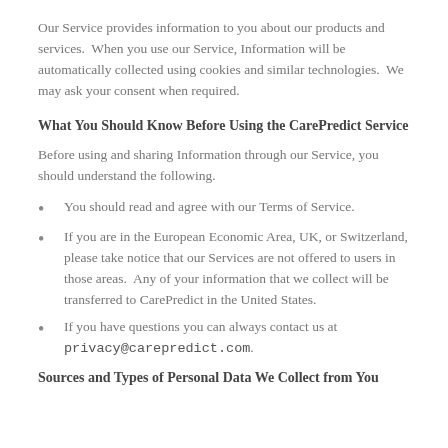Our Service provides information to you about our products and services.  When you use our Service, Information will be automatically collected using cookies and similar technologies.  We may ask your consent when required.
What You Should Know Before Using the CarePredict Service
Before using and sharing Information through our Service, you should understand the following.
You should read and agree with our Terms of Service.
If you are in the European Economic Area, UK, or Switzerland, please take notice that our Services are not offered to users in those areas.  Any of your information that we collect will be transferred to CarePredict in the United States.
If you have questions you can always contact us at privacy@carepredict.com.
Sources and Types of Personal Data We Collect from You